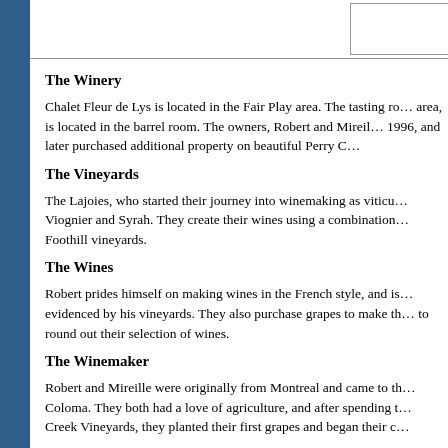The Winery
Chalet Fleur de Lys is located in the Fair Play area. The tasting ro… area, is located in the barrel room. The owners, Robert and Mireil… 1996, and later purchased additional property on beautiful Perry C…
The Vineyards
The Lajoies, who started their journey into winemaking as viticu… Viognier and Syrah. They create their wines using a combination… Foothill vineyards.
The Wines
Robert prides himself on making wines in the French style, and is… evidenced by his vineyards. They also purchase grapes to make th… to round out their selection of wines.
The Winemaker
Robert and Mireille were originally from Montreal and came to th… Coloma. They both had a love of agriculture, and after spending t… Creek Vineyards, they planted their first grapes and began their c…